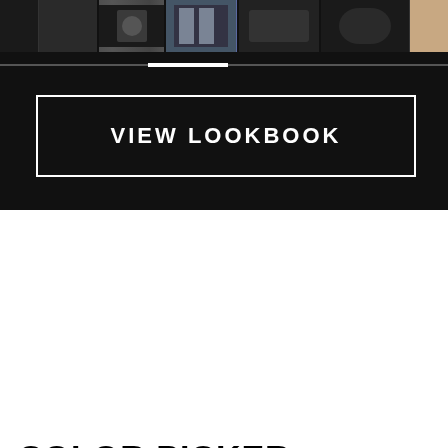[Figure (photo): Fashion photo strip on dark/black background showing clothing and accessories]
VIEW LOOKBOOK
COLOR PICKER
Picky about your hair color? Same. We got you.
[Figure (other): Color picker selection box (partially visible)]